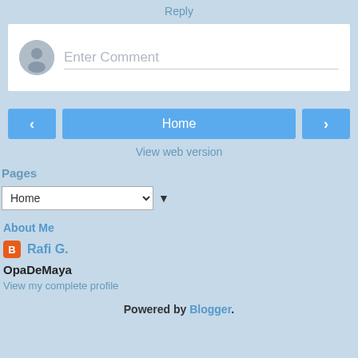Reply
[Figure (screenshot): Comment input box with user avatar and placeholder text 'Enter Comment']
Home
View web version
Pages
Home (dropdown)
About Me
Rafi G.
OpaDeMaya
View my complete profile
Powered by Blogger.